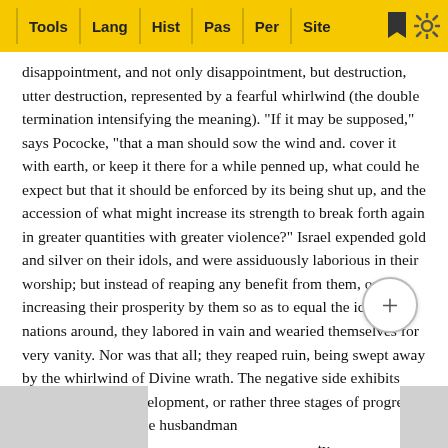Tools | Lang | Hist | Pas | Per | Site
disappointment, and not only disappointment, but destruction, utter destruction, represented by a fearful whirlwind (the double termination intensifying the meaning). "If it may be supposed," says Pococke, "that a man should sow the wind and. cover it with earth, or keep it there for a while penned up, what could he expect but that it should be enforced by its being shut up, and the accession of what might increase its strength to break forth again in greater quantities with greater violence?" Israel expended gold and silver on their idols, and were assiduously laborious in their worship; but instead of reaping any benefit from them, or increasing their prosperity by them so as to equal the idolatrous nations around, they labored in vain and wearied themselves for very vanity. Nor was that all; they reaped ruin, being swept away by the whirlwind of Divine wrath. The negative side exhibits three degrees of development, or rather three stages of progress. They sow, and, as the husbandman expects a return proportionate to his industry, they expect plenty, and pursue the same course, they reap it up, it